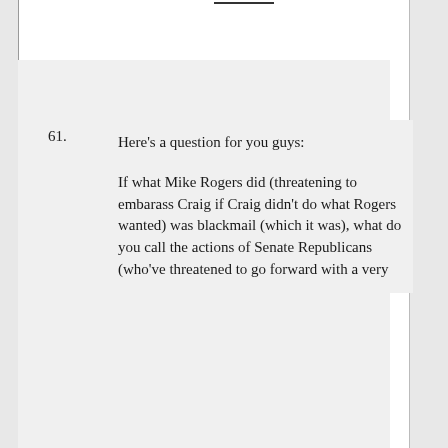61. Here's a question for you guys:

If what Mike Rogers did (threatening to embarass Craig if Craig didn't do what Rogers wanted) was blackmail (which it was), what do you call the actions of Senate Republicans (who've threatened to go forward with a very